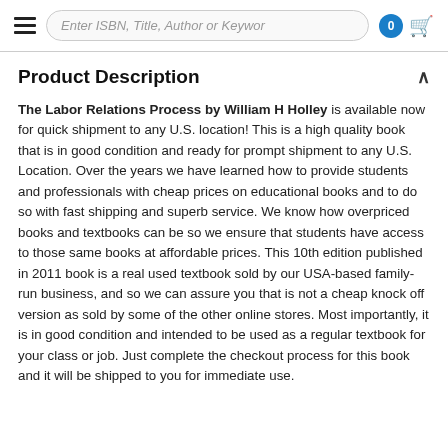Enter ISBN, Title, Author or Keyword
Product Description
The Labor Relations Process by William H Holley is available now for quick shipment to any U.S. location! This is a high quality book that is in good condition and ready for prompt shipment to any U.S. Location. Over the years we have learned how to provide students and professionals with cheap prices on educational books and to do so with fast shipping and superb service. We know how overpriced books and textbooks can be so we ensure that students have access to those same books at affordable prices. This 10th edition published in 2011 book is a real used textbook sold by our USA-based family-run business, and so we can assure you that is not a cheap knock off version as sold by some of the other online stores. Most importantly, it is in good condition and intended to be used as a regular textbook for your class or job. Just complete the checkout process for this book and it will be shipped to you for immediate use.